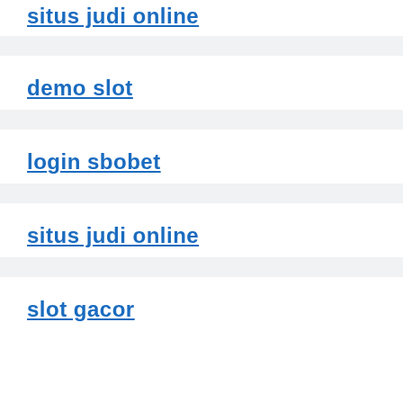situs judi online
demo slot
login sbobet
situs judi online
slot gacor